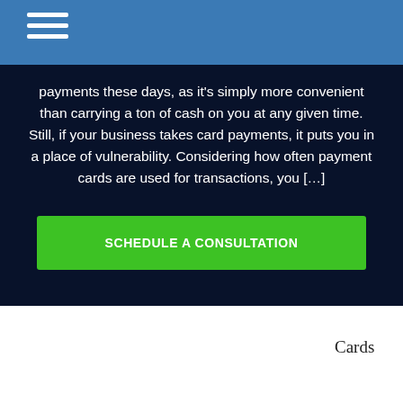Menu navigation (hamburger icon)
payments these days, as it’s simply more convenient than carrying a ton of cash on you at any given time. Still, if your business takes card payments, it puts you in a place of vulnerability. Considering how often payment cards are used for transactions, you […]
SCHEDULE A CONSULTATION
[Figure (photo): Partial image of a smartphone with digital payment/card graphics overlay on a blue background]
Cards